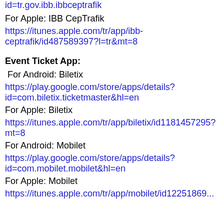id=tr.gov.ibb.ibbceptrafik
For Apple: IBB CepTrafik
https://itunes.apple.com/tr/app/ibb-ceptrafik/id487589397?l=tr&mt=8
Event Ticket App:
For Android: Biletix
https://play.google.com/store/apps/details?id=com.biletix.ticketmaster&hl=en
For Apple: Biletix
https://itunes.apple.com/tr/app/biletix/id1181457295?mt=8
For Android: Mobilet
https://play.google.com/store/apps/details?id=com.mobilet.mobilet&hl=en
For Apple: Mobilet
https://itunes.apple.com/tr/app/mobilet/id122518695...